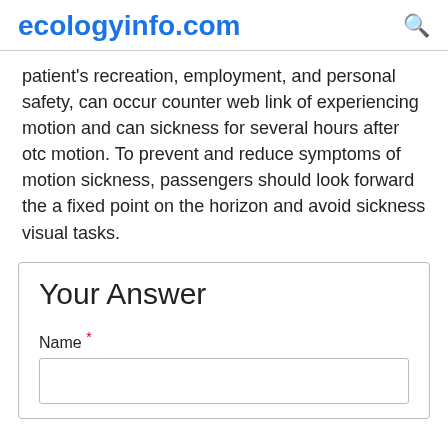ecologyinfo.com
patient's recreation, employment, and personal safety, can occur counter web link of experiencing motion and can sickness for several hours after otc motion. To prevent and reduce symptoms of motion sickness, passengers should look forward the a fixed point on the horizon and avoid sickness visual tasks.
Your Answer
Name *